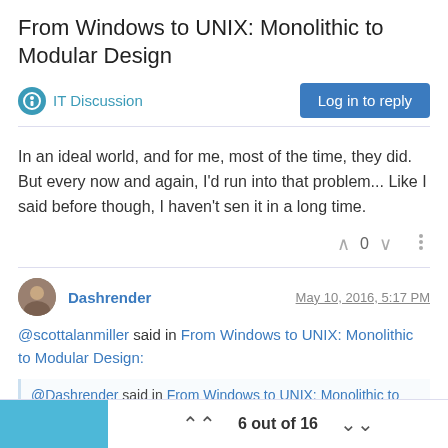From Windows to UNIX: Monolithic to Modular Design
IT Discussion
Log in to reply
In an ideal world, and for me, most of the time, they did. But every now and again, I'd run into that problem... Like I said before though, I haven't sen it in a long time.
0
Dashrender
May 10, 2016, 5:17 PM
@scottalanmiller said in From Windows to UNIX: Monolithic to Modular Design:
@Dashrender said in From Windows to UNIX: Monolithic to Modular Design:
6 out of 16